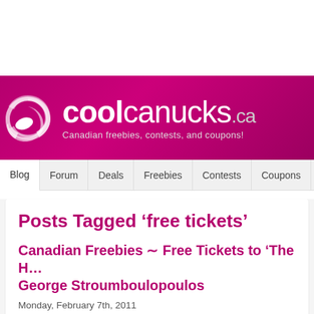[Figure (logo): coolcanucks.ca website logo on magenta/purple gradient banner with swirl icon and tagline 'Canadian freebies, contests, and coupons!']
Blog | Forum | Deals | Freebies | Contests | Coupons | Loyalty Programs
Posts Tagged ‘free tickets’
Canadian Freebies ∼ Free Tickets to ‘The H... George Stroumboulopoulos
Monday, February 7th, 2011